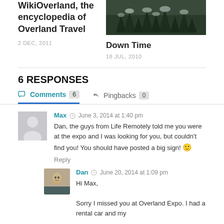WikiOverland, the encyclopedia of Overland Travel
2 DEC, 2011
[Figure (photo): Dark nature/trees photo thumbnail]
Down Time
18 JUL, 2010
6 RESPONSES
Comments 6    Pingbacks 0
Max  June 3, 2014 at 1:40 pm
Dan, the guys from Life Remotely told me you were at the expo and I was looking for you, but couldn't find you! You should have posted a big sign! 🙂
Reply
Dan  June 20, 2014 at 1:09 pm
Hi Max,
Sorry I missed you at Overland Expo. I had a rental car and my